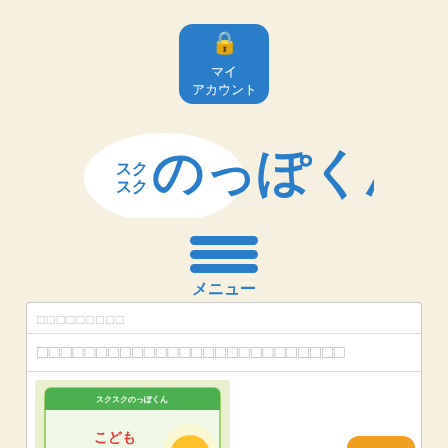[Figure (screenshot): Blue rounded square button with a lock icon and Japanese text マイ アカウント (My Account)]
[Figure (logo): スクスク のっぽくん logo - colorful Japanese children's product logo with cloud shape and blue stylized characters]
[Figure (infographic): Hamburger menu icon with three blue horizontal bars and メニュー (Menu) label below]
□□□□□□□□□
□□□□□□□□□□□□□□□□□□□□□□□□□□
[Figure (photo): Product image of こどもフルーツ青汁 (Children's Fruit Green Juice) box on light green background]
[Figure (infographic): Orange scroll-to-top button with upward arrow icon]